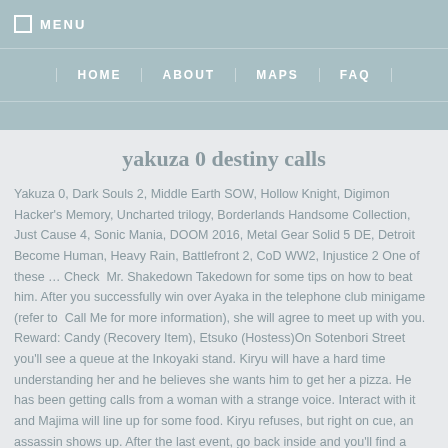☐ MENU | HOME | ABOUT | MAPS | FAQ
yakuza 0 destiny calls
Yakuza 0, Dark Souls 2, Middle Earth SOW, Hollow Knight, Digimon Hacker's Memory, Uncharted trilogy, Borderlands Handsome Collection, Just Cause 4, Sonic Mania, DOOM 2016, Metal Gear Solid 5 DE, Detroit Become Human, Heavy Rain, Battlefront 2, CoD WW2, Injustice 2 One of these … Check  Mr. Shakedown Takedown for some tips on how to beat him. After you successfully win over Ayaka in the telephone club minigame (refer to  Call Me for more information), she will agree to meet up with you. Reward: Candy (Recovery Item), Etsuko (Hostess)On Sotenbori Street you'll see a queue at the Inkoyaki stand. Kiryu will have a hard time understanding her and he believes she wants him to get her a pizza. He has been getting calls from a woman with a strange voice. Interact with it and Majima will line up for some food. Kiryu refuses, but right on cue, an assassin shows up. After the last event, go back inside and you'll find a troubled Nozomi. The following substories become available after returning home.